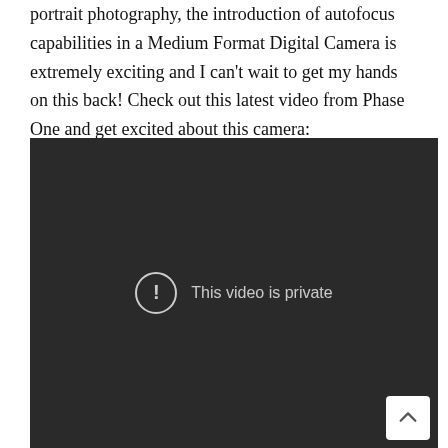portrait photography, the introduction of autofocus capabilities in a Medium Format Digital Camera is extremely exciting and I can't wait to get my hands on this back! Check out this latest video from Phase One and get excited about this camera:
[Figure (screenshot): Embedded video player showing a dark background with a circle-exclamation icon and the message 'This video is private'. A back-to-top arrow button appears in the bottom-right corner.]